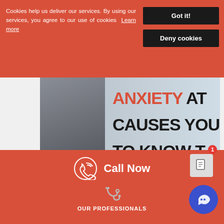Cookies help us deliver our services. By using our services, you agree to our use of cookies Learn more
Got it!
Deny cookies
[Figure (photo): Woman with hands near face looking anxious, with text overlay reading ANXIETY ATTACK: CAUSES YOU TO KNOW T and watermark 'amshospital']
Anxiety Attack: What Are The Causes (And How to Treat It)
Call Now
OUR PROFESSIONALS